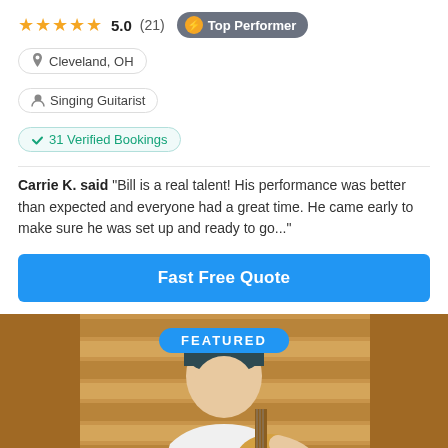★★★★★ 5.0 (21) Top Performer
📍 Cleveland, OH
👤 Singing Guitarist
✔ 31 Verified Bookings
Carrie K. said "Bill is a real talent! His performance was better than expected and everyone had a great time. He came early to make sure he was set up and ready to go..."
Fast Free Quote
[Figure (photo): Young man wearing a dark beanie hat playing an acoustic guitar, sitting in front of wooden slat background. A 'FEATURED' badge is overlaid at the top center.]